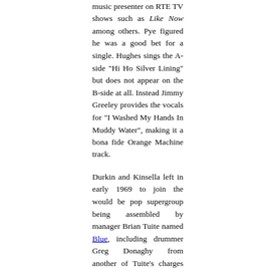music presenter on RTE TV shows such as Like Now among others. Pye figured he was a good bet for a single. Hughes sings the A-side "Hi Ho Silver Lining" but does not appear on the B-side at all. Instead Jimmy Greeley provides the vocals for "I Washed My Hands In Muddy Water", making it a bona fide Orange Machine track.
Durkin and Kinsella left in early 1969 to join the would be pop supergroup being assembled by manager Brian Tuite named Blue, including drummer Greg Donaghy from another of Tuite's charges Granny's Intentions. Replacements were found in the form of northern singer Karen Burke (ex Soul Foundation) and Joe O'Donnell, late of Sweet Street (1967-69) and the